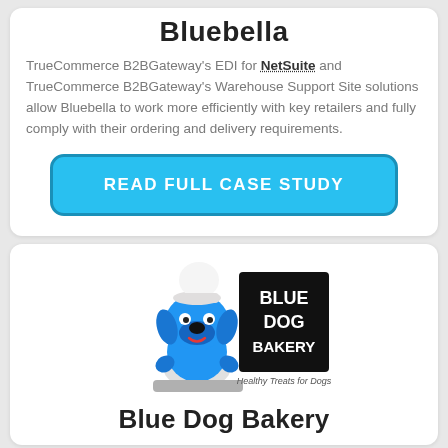Bluebella
TrueCommerce B2BGateway's EDI for NetSuite and TrueCommerce B2BGateway's Warehouse Support Site solutions allow Bluebella to work more efficiently with key retailers and fully comply with their ordering and delivery requirements.
READ FULL CASE STUDY
[Figure (logo): Blue Dog Bakery logo with cartoon blue dog chef character and black box logo reading BLUE DOG BAKERY Healthy Treats for Dogs]
Blue Dog Bakery